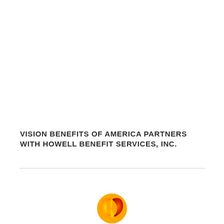VISION BENEFITS OF AMERICA PARTNERS WITH HOWELL BENEFIT SERVICES, INC.
[Figure (logo): Circular logo with flame/swirl design in orange, yellow, and red gradient colors]